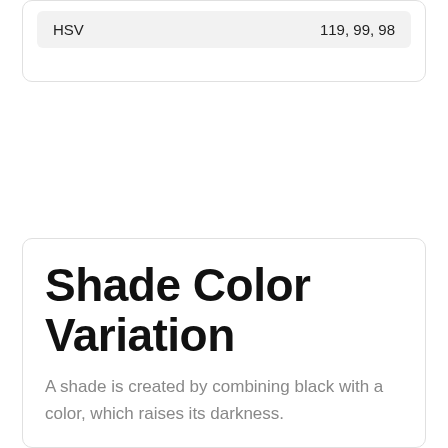|  |  |
| --- | --- |
| HSV | 119, 99, 98 |
Shade Color Variation
A shade is created by combining black with a color, which raises its darkness.